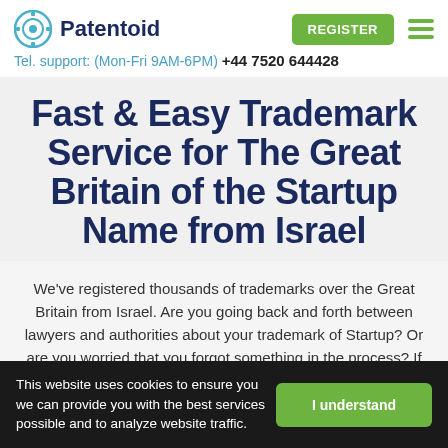[Figure (logo): Patentoid logo: circular gear/eye icon in teal/blue with text 'Patentoid' in dark navy bold]
Tel. support: (Mon-Fri 9AM-6PM) +44 7520 644428
Fast & Easy Trademark Service for The Great Britain of the Startup Name from Israel
We've registered thousands of trademarks over the Great Britain from Israel. Are you going back and forth between lawyers and authorities about your trademark of Startup? Or are you worried that you forgot something in the process? If
This website uses cookies to ensure you we can provide you with the best services possible and to analyze website traffic.